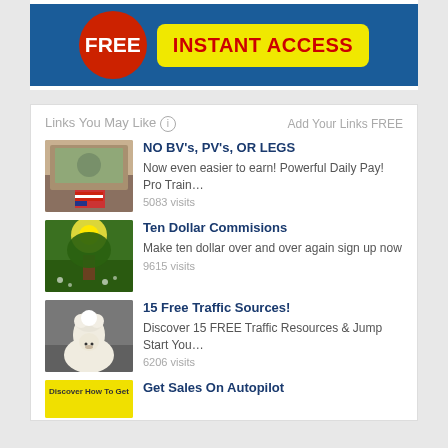[Figure (illustration): Ad banner with red FREE badge circle, blue background, and yellow INSTANT ACCESS button]
Links You May Like ⓘ    Add Your Links FREE
[Figure (photo): US money with American flag]
NO BV's, PV's, OR LEGS
Now even easier to earn! Powerful Daily Pay! Pro Train…
5083 visits
[Figure (photo): Sunny green meadow with tree]
Ten Dollar Commisions
Make ten dollar over and over again sign up now
9615 visits
[Figure (photo): Fluffy white alpaca on gray background]
15 Free Traffic Sources!
Discover 15 FREE Traffic Resources & Jump Start You…
6206 visits
[Figure (illustration): Discover How To Get yellow banner partial]
Get Sales On Autopilot